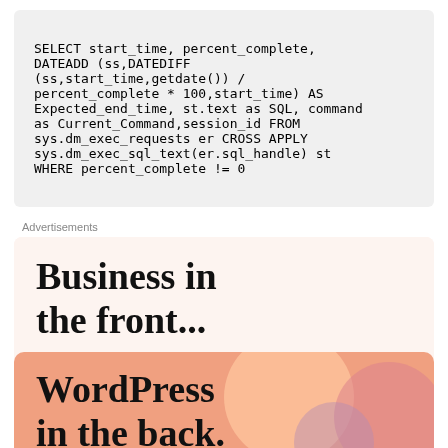Advertisements
[Figure (infographic): Advertisement banner with text 'Business in the front...' on a light peach background, and below it 'WordPress in the back.' on an orange/salmon background with decorative circular bubbles.]